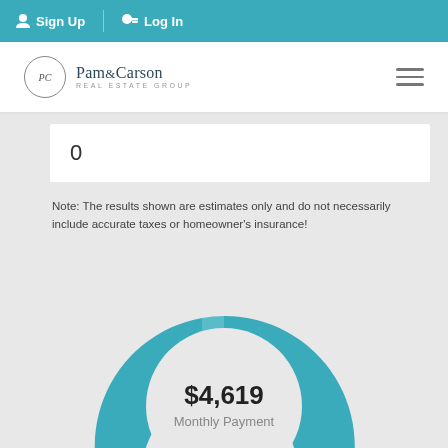Sign Up | Log In
[Figure (logo): Pam & Carson Real Estate Group logo with circular emblem]
0
Note: The results shown are estimates only and do not necessarily include accurate taxes or homeowner's insurance!
[Figure (donut-chart): Donut chart showing $4,619 monthly payment in teal]